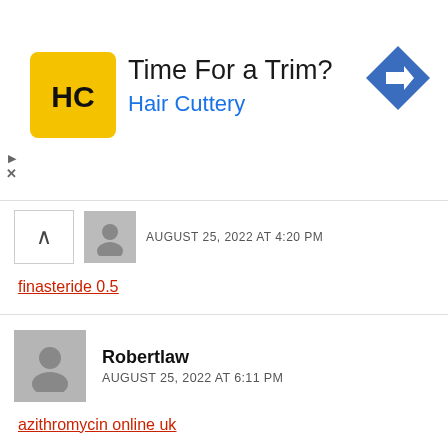[Figure (advertisement): Hair Cuttery ad banner with yellow logo, text 'Time For a Trim?' and 'Hair Cuttery' in blue, and a blue diamond arrow icon on the right]
AUGUST 25, 2022 AT 4:20 PM
finasteride 0.5
Robertlaw
AUGUST 25, 2022 AT 6:11 PM
azithromycin online uk
Leave a Reply
Your email address will not be published.